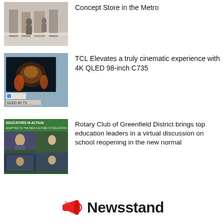[Figure (photo): Interior of a retail concept store with clothing racks and display tables]
Concept Store in the Metro
[Figure (photo): TCL QLED 4K TV advertisement showing a large screen TV with cinematic content and Google TV branding]
TCL Elevates a truly cinematic experience with 4K QLED 98-inch C735
[Figure (photo): Screenshot of a virtual meeting titled 'Educators in Action - Adapting to the New Culture of Education' showing multiple participants]
Rotary Club of Greenfield District brings top education leaders in a virtual discussion on school reopening in the new normal
[Figure (logo): Newsstand logo with red megaphone icon and bold dark text]